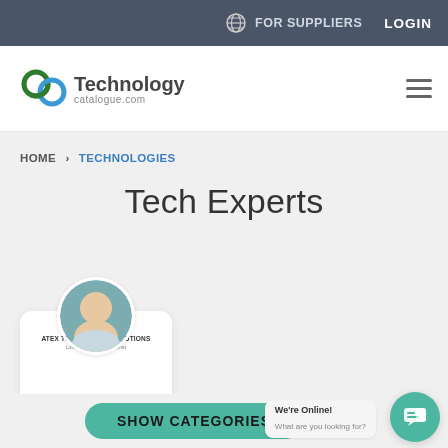FOR SUPPLIERS   LOGIN
[Figure (logo): Technology catalogue.com logo with interlocking chain link icon]
HOME > TECHNOLOGIES
Tech Experts
[Figure (infographic): Expert card for Andrew Russell with ATEX Technology Solutions, Tech Expert badge and circular avatar photo]
Andrew Russell
SHOW CATEGORIES
We're Online! What are you looking for?